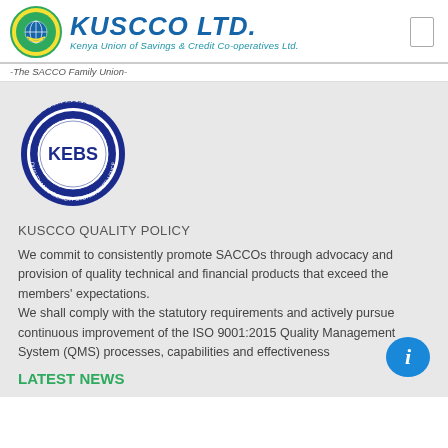[Figure (logo): KUSCCO LTD logo with circular emblem showing globe and hands, text reads Kenya Union of Savings & Credit Co-operatives Ltd.]
-The SACCO Family Union-
[Figure (logo): KEBS ISO 9001 Registered Firm circular badge - Quality Management System Excellence]
KUSCCO QUALITY POLICY
We commit to consistently promote SACCOs through advocacy and provision of quality technical and financial products that exceed the members' expectations.
We shall comply with the statutory requirements and actively pursue continuous improvement of the ISO 9001:2015 Quality Management System (QMS) processes, capabilities and effectiveness
LATEST NEWS